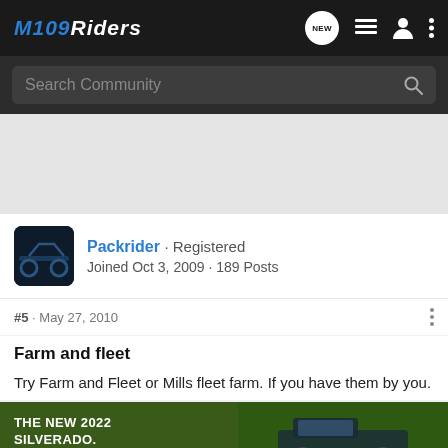M109Riders
Search Community
[Figure (screenshot): Gray advertising space placeholder area]
Packrider · Registered
Joined Oct 3, 2009 · 189 Posts
#5 · May 27, 2010
Farm and fleet
Try Farm and Fleet or Mills fleet farm. If you have them by you.
[Figure (photo): Chevrolet 2022 Silverado advertisement banner showing truck in field with text THE NEW 2022 SILVERADO. and Explore button and Chevrolet logo]